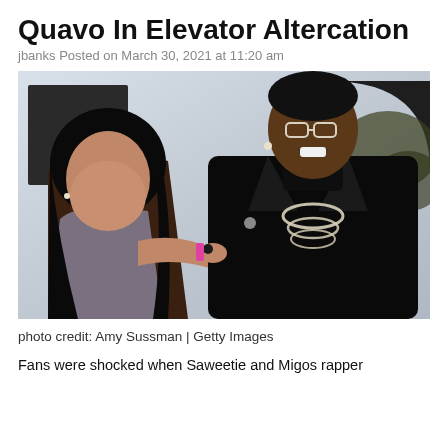Quavo In Elevator Altercation
jbanks Posted on March 30, 2021 at 11:20 am
[Figure (photo): Photo of Saweetie and Quavo posing together at a GQ event. Saweetie is wearing a grey dress on the left, Quavo is wearing a black pinstripe suit with silver chains on the right.]
photo credit: Amy Sussman | Getty Images
Fans were shocked when Saweetie and Migos rapper